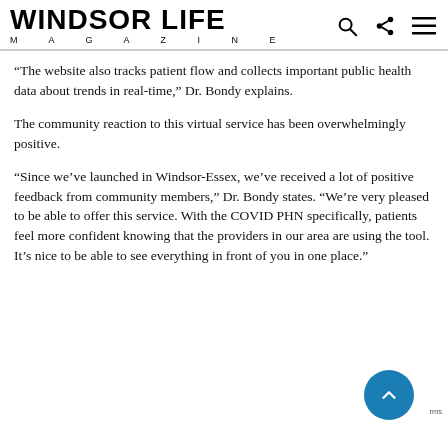WINDSOR LIFE MAGAZINE
“The website also tracks patient flow and collects important public health data about trends in real-time,” Dr. Bondy explains.
The community reaction to this virtual service has been overwhelmingly positive.
“Since we’ve launched in Windsor-Essex, we’ve received a lot of positive feedback from community members,” Dr. Bondy states. “We’re very pleased to be able to offer this service. With the COVID PHN specifically, patients feel more confident knowing that the providers in our area are using the tool. It’s nice to be able to see everything in front of you in one place.”